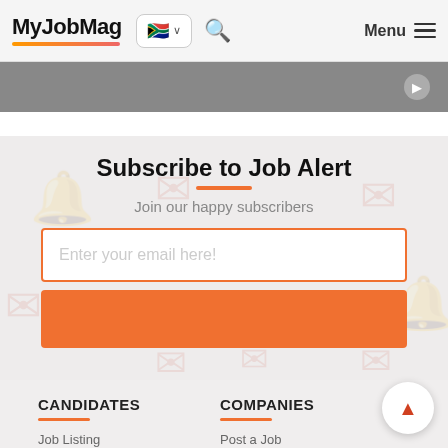MyJobMag [SA flag] [search] Menu
[Figure (screenshot): Gray banner strip at top]
Subscribe to Job Alert
Join our happy subscribers
[Figure (other): Email input field with placeholder 'Enter your email here!']
[Figure (other): Orange Subscribe button with right arrow]
CANDIDATES
COMPANIES
Job Listing
Post a Job